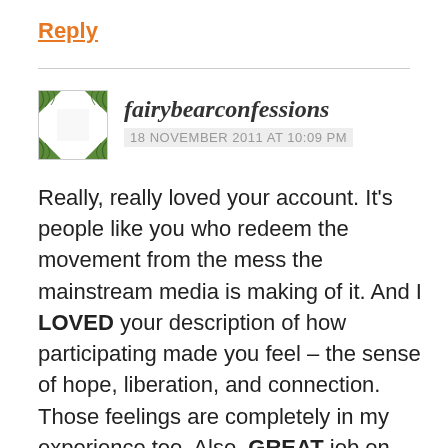Reply
[Figure (illustration): Square avatar image with a green leaf/bamboo pattern border around a white center, associated with the user fairybearconfessions]
fairybearconfessions
18 NOVEMBER 2011 AT 10:09 PM
Really, really loved your account. It's people like you who redeem the movement from the mess the mainstream media is making of it. And I LOVED your description of how participating made you feel – the sense of hope, liberation, and connection. Those feelings are completely in my experience too. Also, GREAT job on your comments. I'm feeling inspired….